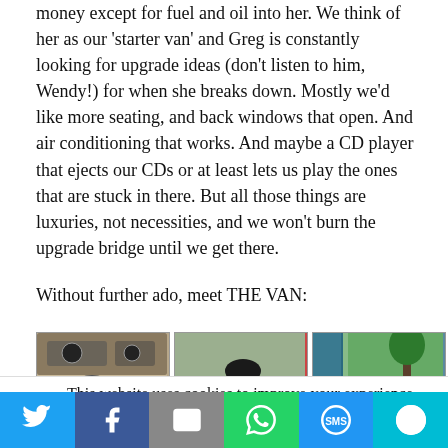money except for fuel and oil into her. We think of her as our 'starter van' and Greg is constantly looking for upgrade ideas (don't listen to him, Wendy!) for when she breaks down. Mostly we'd like more seating, and back windows that open. And air conditioning that works. And maybe a CD player that ejects our CDs or at least lets us play the ones that are stuck in there. But all those things are luxuries, not necessities, and we won't burn the upgrade bridge until we get there.
Without further ado, meet THE VAN:
[Figure (photo): Interior dashboard view of a van showing steering wheel and dashboard]
[Figure (photo): Person lying on a red sleeping bag in the back of the van]
[Figure (photo): Side door of the van open with camping gear visible outside]
This website uses cookies to improve your experience. We'll assume you're ok with this, but you can opt-out if you
Twitter | Facebook | Email | WhatsApp | SMS | More